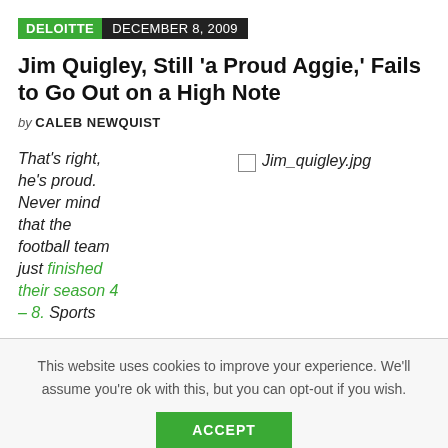DELOITTE  DECEMBER 8, 2009
Jim Quigley, Still 'a Proud Aggie,' Fails to Go Out on a High Note
by CALEB NEWQUIST
That's right, he's proud. Never mind that the football team just finished their season 4 – 8. Sports
[Figure (other): Broken image placeholder for Jim_quigley.jpg]
This website uses cookies to improve your experience. We'll assume you're ok with this, but you can opt-out if you wish.
ACCEPT